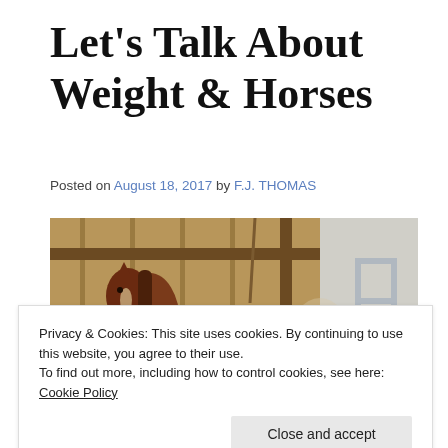Let's Talk About Weight & Horses
Posted on August 18, 2017 by F.J. THOMAS
[Figure (photo): A chestnut horse standing in a wooden barn stall, viewed from the side. The barn has wood paneling and metal siding visible in the background. A metal gate or ladder structure is seen on the right side.]
Privacy & Cookies: This site uses cookies. By continuing to use this website, you agree to their use.
To find out more, including how to control cookies, see here: Cookie Policy
Close and accept